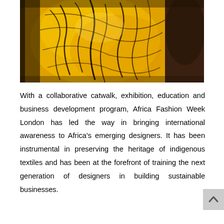[Figure (photo): Close-up photograph of a person wearing a yellow and black patterned garment with abstract brushstroke-like dark markings on bright yellow fabric. The image is dark and dramatic in tone.]
With a collaborative catwalk, exhibition, education and business development program, Africa Fashion Week London has led the way in bringing international awareness to Africa's emerging designers. It has been instrumental in preserving the heritage of indigenous textiles and has been at the forefront of training the next generation of designers in building sustainable businesses.